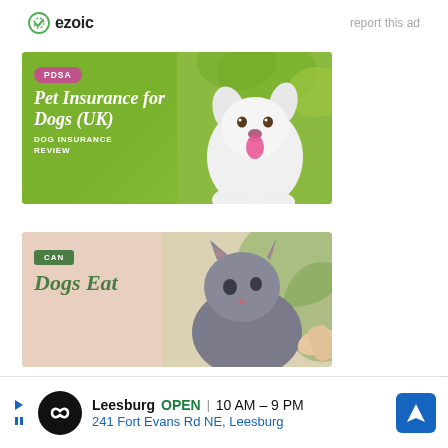ezoic   report this ad
[Figure (illustration): PDSA Pet Insurance for Dogs (UK) - DOG INSURANCE REVIEW - advertisement banner with white fluffy dog on green background]
[Figure (illustration): CAN Dogs Eat - advertisement banner with grey cat on beige background, partially visible]
[Figure (illustration): Leesburg OPEN 10AM-9PM, 241 Fort Evans Rd NE, Leesburg - Google Maps style bottom advertisement banner]